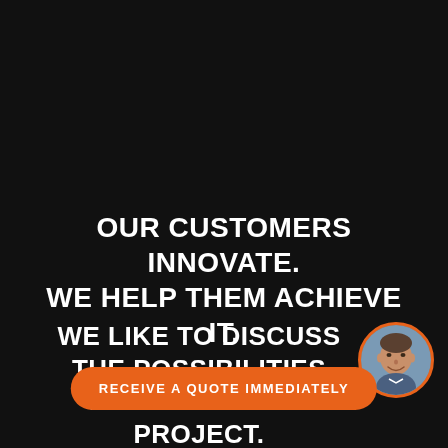OUR CUSTOMERS INNOVATE. WE HELP THEM ACHIEVE IT.
WE LIKE TO DISCUSS THE POSSIBILITIES FOR YOUR NEXT PROJECT.
[Figure (photo): Circular avatar photo of a smiling man, with an orange border, positioned at the right side of the second text block.]
RECEIVE A QUOTE IMMEDIATELY